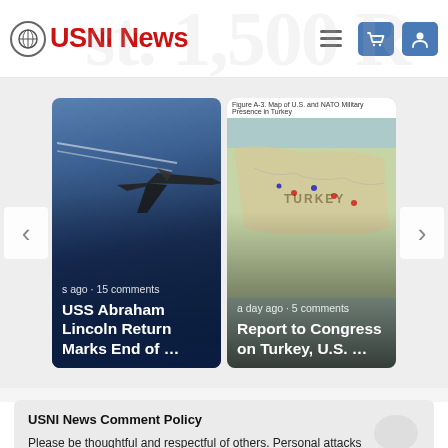USNI News
[Figure (screenshot): News article card: USS Abraham Lincoln Return Marks End of ... — jet aircraft photo, s ago · 15 comments]
[Figure (screenshot): News article card: Report to Congress on Turkey, U.S. ... — Map of U.S. and NATO Military Presence in Turkey, a day ago · 5 comments]
USNI News Comment Policy
Please be thoughtful and respectful of others. Personal attacks and abusive language are not tolerated.